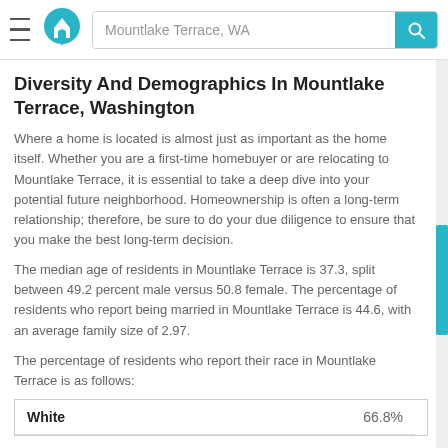Mountlake Terrace, WA
Diversity And Demographics In Mountlake Terrace, Washington
Where a home is located is almost just as important as the home itself. Whether you are a first-time homebuyer or are relocating to Mountlake Terrace, it is essential to take a deep dive into your potential future neighborhood. Homeownership is often a long-term relationship; therefore, be sure to do your due diligence to ensure that you make the best long-term decision.
The median age of residents in Mountlake Terrace is 37.3, split between 49.2 percent male versus 50.8 female. The percentage of residents who report being married in Mountlake Terrace is 44.6, with an average family size of 2.97.
The percentage of residents who report their race in Mountlake Terrace is as follows:
|  |  |
| --- | --- |
| White | 66.8% |